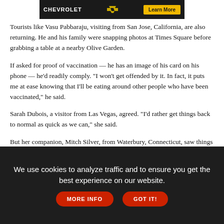[Figure (other): Chevrolet advertisement banner with logo and Learn More button]
Tourists like Vasu Pabbaraju, visiting from San Jose, California, are also returning. He and his family were snapping photos at Times Square before grabbing a table at a nearby Olive Garden.
If asked for proof of vaccination — he has an image of his card on his phone — he'd readily comply. "I won't get offended by it. In fact, it puts me at ease knowing that I'll be eating around other people who have been vaccinated," he said.
Sarah Dubois, a visitor from Las Vegas, agreed. "I'd rather get things back to normal as quick as we can," she said.
But her companion, Mitch Silver, from Waterbury, Connecticut, saw things differently.
"I don't like the idea of it," he said. "I don't think it should be made mandatory by the government."
(partial line cut off at bottom)
We use cookies to analyze traffic and to ensure you get the best experience on our website.